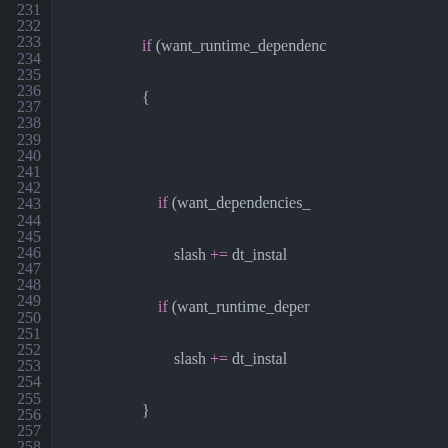[Figure (screenshot): Code editor screenshot showing C++ source code lines 231-258, with syntax highlighting on a dark background. The code shows conditional logic with if/else statements involving want_runtime_dependencies, slash and dt_install operations, followed by a bool can_use_cache function with return statement calling package_dep_spec_has_properties with multiple n:: namespace arguments.]